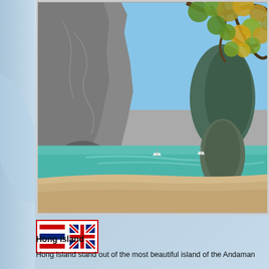[Figure (photo): Tropical beach scene with turquoise sea, limestone karst rock formations, sandy shore, and tree branches with green and yellow leaves hanging from upper right. Boats visible in the calm water between rock formations.]
[Figure (illustration): Two small flag icons side by side: Thai flag (red and blue horizontal stripes) and UK flag (Union Jack). Displayed in a small bordered box.]
Hong Island
Hong Island stand out of the most beautiful island of the Andaman